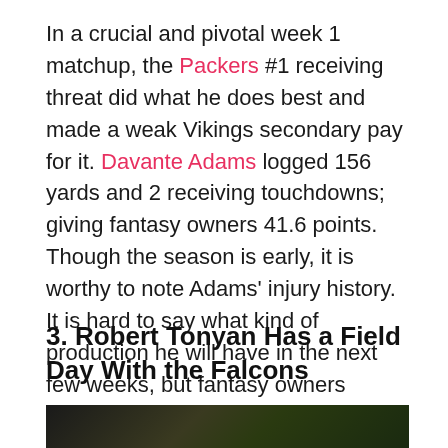In a crucial and pivotal week 1 matchup, the Packers #1 receiving threat did what he does best and made a weak Vikings secondary pay for it. Davante Adams logged 156 yards and 2 receiving touchdowns; giving fantasy owners 41.6 points. Though the season is early, it is worthy to note Adams' injury history. It is hard to say what kind of production he will have in the next few weeks, but fantasy owners should not have any doubt inserting Adams into starting lineups from here on out.
3. Robert Tonyan Has a Field Day With the Falcons
[Figure (photo): Partial photo strip at bottom of page, appears to be a sports/football image with dark green and black tones]